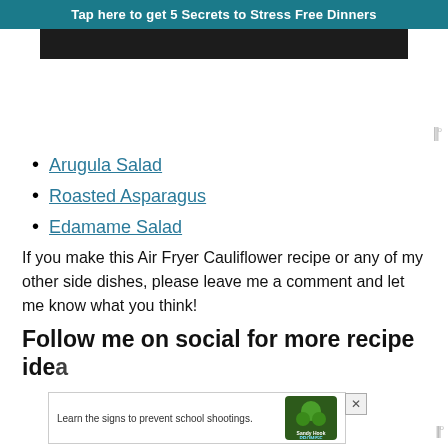Tap here to get 5 Secrets to Stress Free Dinners
[Figure (photo): Dark banner image strip]
Arugula Salad
Roasted Asparagus
Edamame Salad
If you make this Air Fryer Cauliflower recipe or any of my other side dishes, please leave me a comment and let me know what you think!
Follow me on social for more recipe ideas!